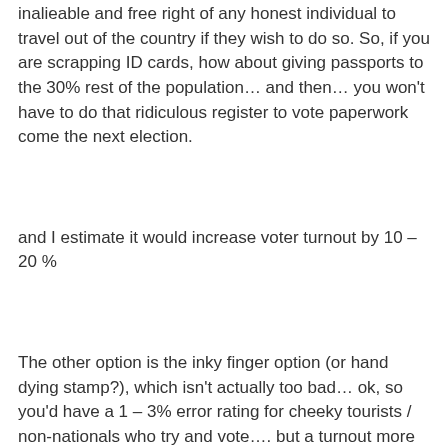inalieable and free right of any honest individual to travel out of the country if they wish to do so. So, if you are scrapping ID cards, how about giving passports to the 30% rest of the population… and then… you won't have to do that ridiculous register to vote paperwork come the next election.
and I estimate it would increase voter turnout by 10 – 20 %
The other option is the inky finger option (or hand dying stamp?), which isn't actually too bad… ok, so you'd have a 1 – 3% error rating for cheeky tourists / non-nationals who try and vote…. but a turnout more like 90%….